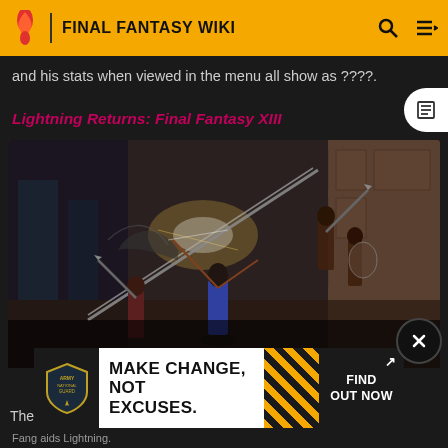FINAL FANTASY WIKI
and his stats when viewed in the menu all show as ????.
Lightning Returns: Final Fantasy XIII
[Figure (screenshot): Game screenshot showing a battle scene with a character wielding a lance fighting against armed enemies in an ornate indoor environment. Another character fights alongside.]
[Figure (infographic): Army National Guard advertisement: MAKE CHANGE, NOT EXCUSES. FIND OUT NOW]
Fang aids Lightning.
There are two AI-controlled guest party members.